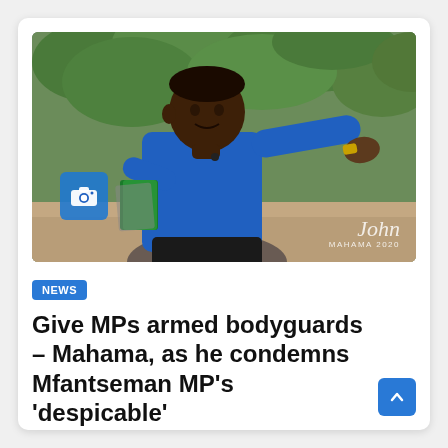[Figure (photo): A man in a blue shirt seated outdoors, gesturing with his right arm extended, holding papers in his left hand. Lush green foliage in background. 'John Mahama 2020' watermark and camera icon overlay visible.]
NEWS
Give MPs armed bodyguards – Mahama, as he condemns Mfantseman MP's 'despicable'